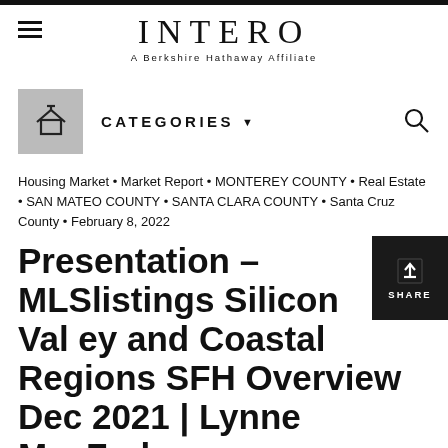INTERO
A Berkshire Hathaway Affiliate
[Figure (logo): Home icon in grey square, navigation bar with CATEGORIES dropdown and search icon]
Housing Market • Market Report • MONTEREY COUNTY • Real Estate • SAN MATEO COUNTY • SANTA CLARA COUNTY • Santa Cruz County • February 8, 2022
Presentation – MLSlistings Silicon Valley and Coastal Regions SFH Overview Dec 2021 | Lynne MacFarlane